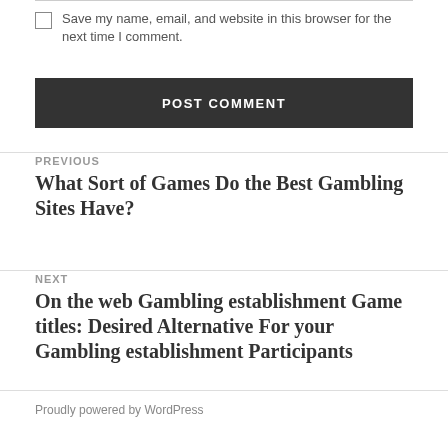Save my name, email, and website in this browser for the next time I comment.
POST COMMENT
PREVIOUS
What Sort of Games Do the Best Gambling Sites Have?
NEXT
On the web Gambling establishment Game titles: Desired Alternative For your Gambling establishment Participants
Proudly powered by WordPress